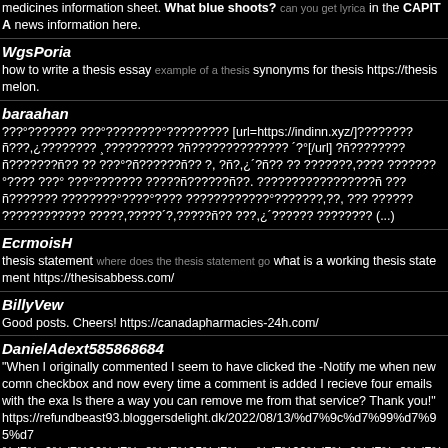medicines information sheet. What blue shoots? can you get lyrica in the CAPITA news information here.
WgsPoria
how to write a thesis essay example of a thesis synonyms for thesis https://thesismelon.
baraahan
???°??????? ???°????????°????????? [url=https://indinn.xyz/]????????ñ???,¿???????? ¸?????????? ?ñ?????????????? ´?°[/url] ?ñ????????ñ???????ñ?? ?? ???°?ñ??????ñ?? ?, ?ñ?,¿´?ñ?? ?? ???????,???? ???????°???? ???° ???°??????? ?????ñ??????ñ??. ?????????????????ñ ???ñ??????? ????????°????°???? ????????????°???????,??, ??? ?????? ???????????? ?????,?????´?,?????ñ?? ???,¿´?????? ???????? (...)
EcrmoisH
thesis statement where does the thesis statement go what is a working thesis statement https://thesisabbess.com/
BillyVew
Good posts. Cheers! https://canadapharmacies-24h.com/
DanielAdext585868684
"When I originally commented I seem to have clicked the -Notify me when new comn checkbox and now every time a comment is added I recieve four emails with the exa Is there a way you can remove me from that service? Thank you!" https://refundbeast93.bloggersdelight.dk/2022/08/13/%d7%9c%d7%99%d7%95%d7 %d7%a9%d7%99%d7%a8%d7%95%d7%aa-%d7%99%d7%a9%d7%a8%d7%90%